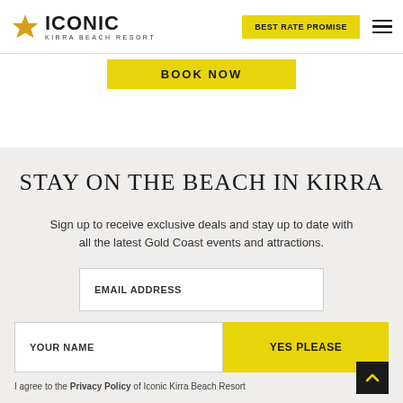[Figure (logo): Iconic Kirra Beach Resort logo with yellow star and bold ICONIC text]
BEST RATE PROMISE
BOOK NOW
STAY ON THE BEACH IN KIRRA
Sign up to receive exclusive deals and stay up to date with all the latest Gold Coast events and attractions.
EMAIL ADDRESS
YOUR NAME
YES PLEASE
I agree to the Privacy Policy of Iconic Kirra Beach Resort